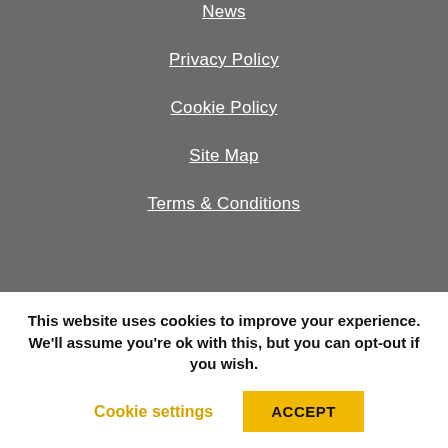News
Privacy Policy
Cookie Policy
Site Map
Terms & Conditions
[Figure (infographic): Social media icons: Twitter bird, Facebook f, YouTube play button, microphone/podcast]
Ulster Community Investment Trust Limited T/A Community
This website uses cookies to improve your experience. We'll assume you're ok with this, but you can opt-out if you wish.
Cookie settings  ACCEPT